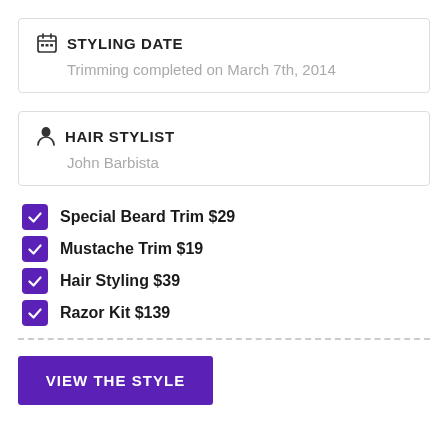STYLING DATE
Trimming completed on March 7th, 2014
HAIR STYLIST
John Barbista
Special Beard Trim $29
Mustache Trim $19
Hair Styling $39
Razor Kit $139
VIEW THE STYLE